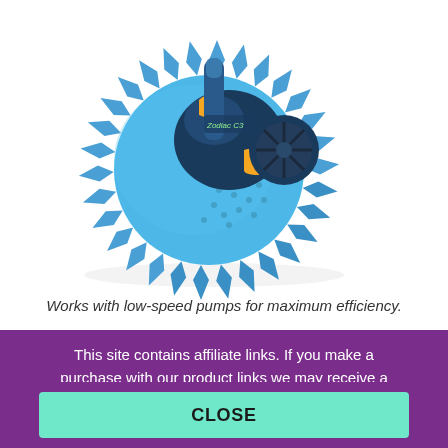[Figure (photo): A Zodiac C3 automatic pool cleaner. The device is blue with a large circular spiked/finned edge skirt and a dark blue body with yellow accents. A hose connects at the top.]
Works with low-speed pumps for maximum efficiency.
This site contains affiliate links. If you make a purchase with our product links we may receive a small commission at NO COST TO YOU. (Learn More)
CLOSE